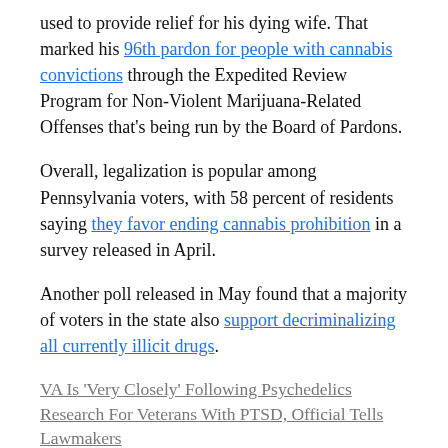used to provide relief for his dying wife. That marked his 96th pardon for people with cannabis convictions through the Expedited Review Program for Non-Violent Marijuana-Related Offenses that's being run by the Board of Pardons.
Overall, legalization is popular among Pennsylvania voters, with 58 percent of residents saying they favor ending cannabis prohibition in a survey released in April.
Another poll released in May found that a majority of voters in the state also support decriminalizing all currently illicit drugs.
VA Is 'Very Closely' Following Psychedelics Research For Veterans With PTSD, Official Tells Lawmakers
Photo courtesy of WeedPornDaily.
Marijuana Moment is made possible with support